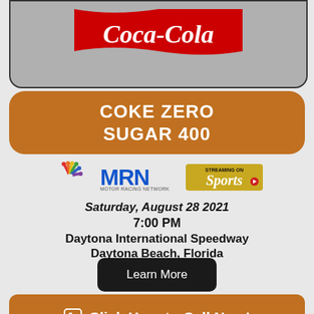[Figure (logo): Coca-Cola logo on grey rounded rectangle background]
COKE ZERO SUGAR 400
[Figure (logo): NBC logo, MRN Motor Racing Network logo, Streaming on NBC Sports logo]
Saturday, August 28 2021
7:00 PM
Daytona International Speedway
Daytona Beach, Florida
Learn More
Click Here to Call Now!